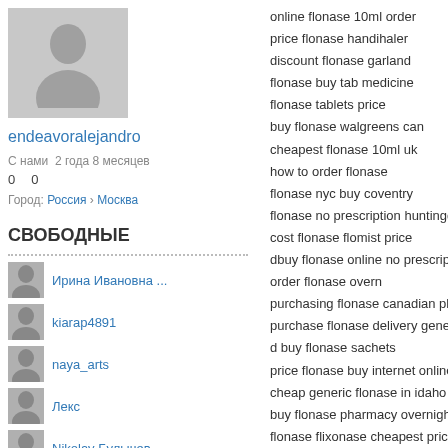[Figure (illustration): Gray placeholder avatar silhouette for user profile]
endeavoralejandro
С нами 2 года 8 месяцев
0   0
Город: Россия › Москва
СВОБОДНЫЕ
Ирина Ивановна ...
kiarap4891
naya_arts
Лекс
Nikolay Булычев
online flonase 10ml order
price flonase handihaler
discount flonase garland
flonase buy tab medicine
flonase tablets price
buy flonase walgreens can
cheapest flonase 10ml uk
how to order flonase
flonase nyc buy coventry
flonase no prescription huntingdonshire
cost flonase flomist price
dbuy flonase online no prescription
order flonase overn
purchasing flonase canadian pharmacy
purchase flonase delivery generic
d buy flonase sachets
price flonase buy internet online
cheap generic flonase in idaho
buy flonase pharmacy overnight medicine
flonase flixonase cheapest price
order flonase tablet visa
discount flonase usa no rx
want to buy flonase
flonase pharmacy legally internet texas
how to purchase flonase